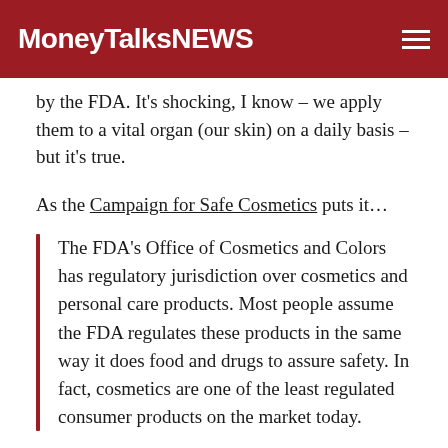MoneyTalksNews
by the FDA. It's shocking, I know – we apply them to a vital organ (our skin) on a daily basis – but it's true.
As the Campaign for Safe Cosmetics puts it…
The FDA's Office of Cosmetics and Colors has regulatory jurisdiction over cosmetics and personal care products. Most people assume the FDA regulates these products in the same way it does food and drugs to assure safety. In fact, cosmetics are one of the least regulated consumer products on the market today.
In other words, the FDA does not police cosmetic products or their ingredients. The only thing it really